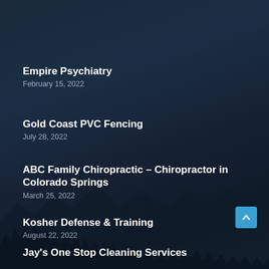Empire Psychiatry
February 15, 2022
Gold Coast PVC Fencing
July 28, 2022
ABC Family Chiropractic – Chiropractor in Colorado Springs
March 25, 2022
Kosher Defense & Training
August 22, 2022
Jay's One Stop Cleaning Services
February 9, 2022